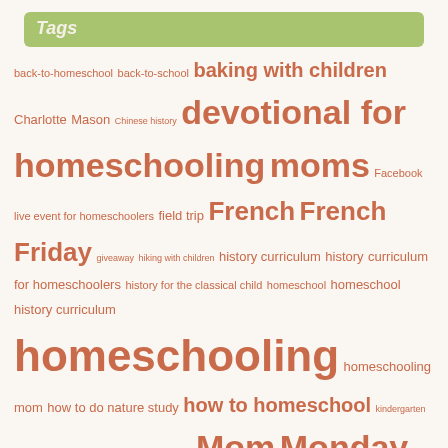Tags
back-to-homeschool back-to-school baking with children Charlotte Mason Chinese history devotional for homeschooling moms Facebook live event for homeschoolers field trip French French Friday giveaway hiking with children history curriculum history curriculum for homeschoolers history for the classical child homeschool homeschool history curriculum homeschooling homeschooling mom how to do nature study how to homeschool kindergarten Knoxville Symphony Youth Orchestra KSYO Mom Monday mom monday series nature studies nature walks new series our weekly bread review Review Crew science Olympiad socialization Story of the World Story of the World review story of the world volume 3 story sunday susan wise bauer teach children to bake TeenPact Thoughtful Thursday Tuesday Tome weekly inspiration for